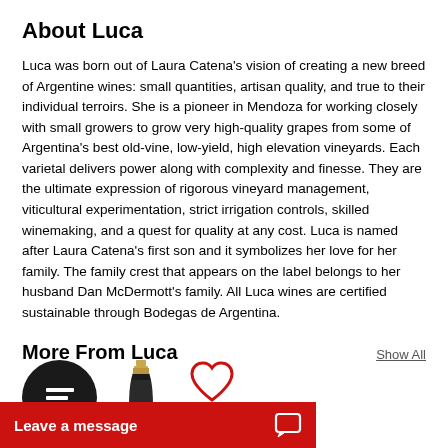About Luca
Luca was born out of Laura Catena's vision of creating a new breed of Argentine wines: small quantities, artisan quality, and true to their individual terroirs. She is a pioneer in Mendoza for working closely with small growers to grow very high-quality grapes from some of Argentina's best old-vine, low-yield, high elevation vineyards. Each varietal delivers power along with complexity and finesse. They are the ultimate expression of rigorous vineyard management, viticultural experimentation, strict irrigation controls, skilled winemaking, and a quest for quality at any cost. Luca is named after Laura Catena's first son and it symbolizes her love for her family. The family crest that appears on the label belongs to her husband Dan McDermott's family. All Luca wines are certified sustainable through Bodegas de Argentina.
More From Luca
[Figure (screenshot): Thumbnail icons row showing a dark circle with lines icon, a bottle of wine, and a heart outline icon]
[Figure (screenshot): Red 'Leave a message' bar with chat icon at the bottom]